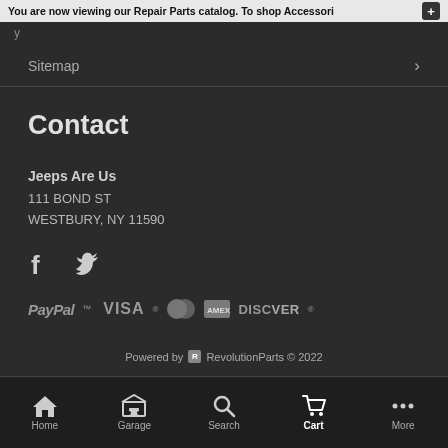You are now viewing our Repair Parts catalog. To shop Accessori +
y
Sitemap
Contact
Jeeps Are Us
111 BOND ST
WESTBURY, NY 11590
[Figure (other): Social media icons: Facebook (f) and Twitter (bird)]
[Figure (other): Payment method logos: PayPal, VISA, Mastercard, American Express, DISCOVER]
Powered by RevolutionParts © 2022
Home | Garage | Search | Cart | More